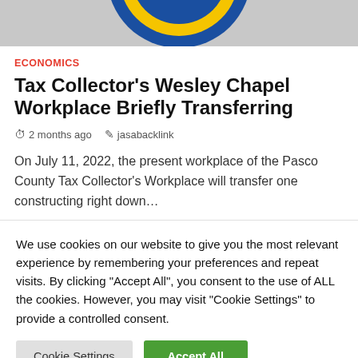[Figure (illustration): Partial view of a circular governmental seal/badge with blue and gold colors, partially cropped at top of page]
ECONOMICS
Tax Collector's Wesley Chapel Workplace Briefly Transferring
2 months ago   jasabacklink
On July 11, 2022, the present workplace of the Pasco County Tax Collector's Workplace will transfer one constructing right down…
We use cookies on our website to give you the most relevant experience by remembering your preferences and repeat visits. By clicking "Accept All", you consent to the use of ALL the cookies. However, you may visit "Cookie Settings" to provide a controlled consent.